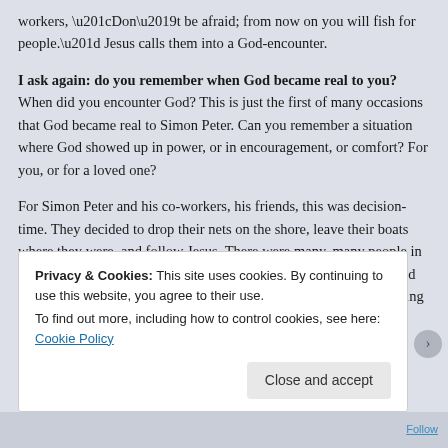workers, “Don’t be afraid; from now on you will fish for people.” Jesus calls them into a God-encounter.
I ask again: do you remember when God became real to you? When did you encounter God? This is just the first of many occasions that God became real to Simon Peter. Can you remember a situation where God showed up in power, or in encouragement, or comfort? For you, or for a loved one?
For Simon Peter and his co-workers, his friends, this was decision-time. They decided to drop their nets on the shore, leave their boats where they were, and follow Jesus. There were many, many people in the crowd who also had the opportunity to follow Jesus, but they did not. At least, not at this time. They only stayed for the good preaching and the miracles, not the following-Jesus-part.
Privacy & Cookies: This site uses cookies. By continuing to use this website, you agree to their use. To find out more, including how to control cookies, see here: Cookie Policy
Close and accept